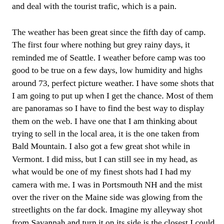and deal with the tourist trafic, which is a pain.
The weather has been great since the fifth day of camp. The first four where nothing but grey rainy days, it reminded me of Seattle. I weather before camp was too good to be true on a few days, low humidity and highs around 73, perfect picture weather. I have some shots that I am going to put up when I get the chance. Most of them are panoramas so I have to find the best way to display them on the web. I have one that I am thinking about trying to sell in the local area, it is the one taken from Bald Mountain. I also got a few great shot while in Vermont. I did miss, but I can still see in my head, as what would be one of my finest shots had I had my camera with me. I was in Portsmouth NH and the mist over the river on the Maine side was glowing from the streetlights on the far dock. Imagine my alleyway shot from Savannah and turn it on its side is the closest I could explain it. I will return to that spot and get the shot this fall, it will not bee hard to recreate, well the weather has to recreate it and since my mystical powers do not seem to effect the weather, at least on a large scale. And no global warming is not all my fault.